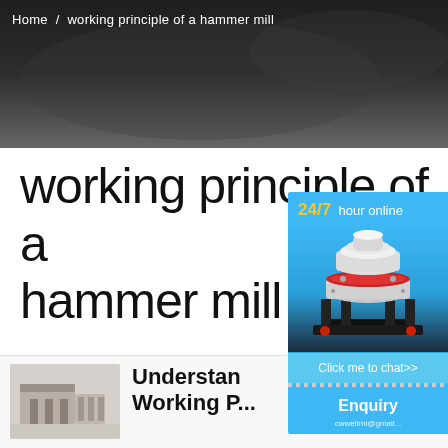Home > working principle of a hammer mill
working principle of a hammer mill
[Figure (illustration): Dark hero banner background image showing industrial machinery context]
[Figure (illustration): Blue sidebar widget showing 24/7 hour online, industrial cone crusher machine illustration, Click me to chat>> button, Enquiry section, and email address partially visible]
[Figure (photo): Thumbnail photo of a hammer mill machine]
Understan... Working P...